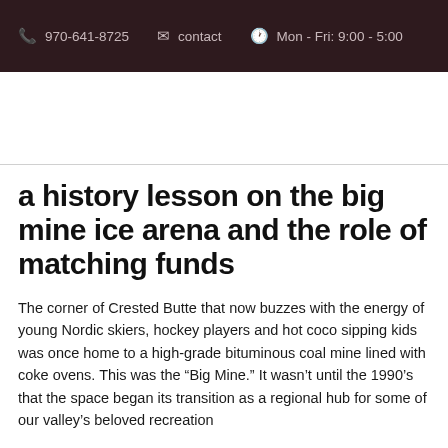970-641-8725   contact   Mon - Fri: 9:00 - 5:00
a history lesson on the big mine ice arena and the role of matching funds
The corner of Crested Butte that now buzzes with the energy of young Nordic skiers, hockey players and hot coco sipping kids was once home to a high-grade bituminous coal mine lined with coke ovens. This was the “Big Mine.” It wasn’t until the 1990’s that the space began its transition as a regional hub for some of our valley’s beloved recreation